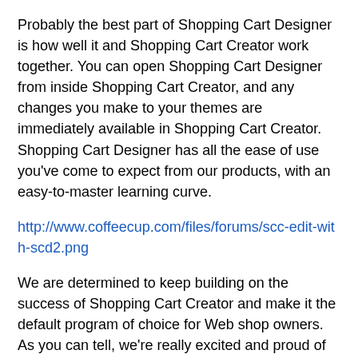Probably the best part of Shopping Cart Designer is how well it and Shopping Cart Creator work together. You can open Shopping Cart Designer from inside Shopping Cart Creator, and any changes you make to your themes are immediately available in Shopping Cart Creator. Shopping Cart Designer has all the ease of use you've come to expect from our products, with an easy-to-master learning curve.
http://www.coffeecup.com/files/forums/scc-edit-with-scd2.png
We are determined to keep building on the success of Shopping Cart Creator and make it the default program of choice for Web shop owners. As you can tell, we're really excited and proud of the newest addition to our family of software, but we're even more excited to hear what you think! If you have any questions or comments...